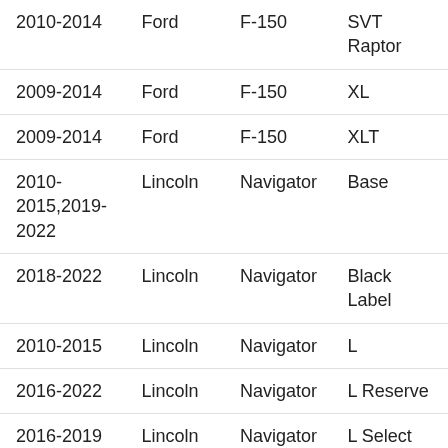| 2010-2014 | Ford | F-150 | SVT Raptor |
| 2009-2014 | Ford | F-150 | XL |
| 2009-2014 | Ford | F-150 | XLT |
| 2010-2015,2019-2022 | Lincoln | Navigator | Base |
| 2018-2022 | Lincoln | Navigator | Black Label |
| 2010-2015 | Lincoln | Navigator | L |
| 2016-2022 | Lincoln | Navigator | L Reserve |
| 2016-2019 | Lincoln | Navigator | L Select |
| 2018 | Lincoln | Navigator | Premiere |